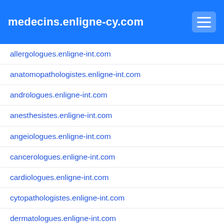medecins.enligne-cy.com
allergologues.enligne-int.com
anatomopathologistes.enligne-int.com
andrologues.enligne-int.com
anesthesistes.enligne-int.com
angeiologues.enligne-int.com
cancerologues.enligne-int.com
cardiologues.enligne-int.com
cytopathologistes.enligne-int.com
dermatologues.enligne-int.com
diabetologues.enligne-int.com
endocrinologues.enligne-int.com
epidemiologistes.enligne-int.com
gastroenterologues.enligne-int.com